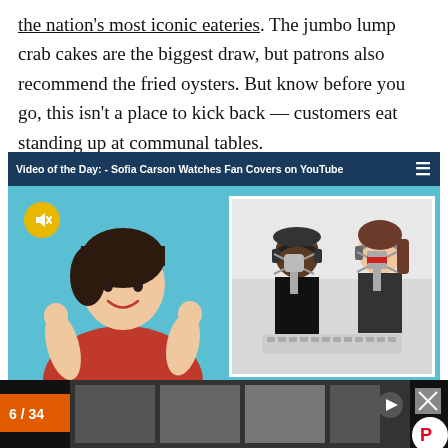the nation's most iconic eateries. The jumbo lump crab cakes are the biggest draw, but patrons also recommend the fried oysters. But know before you go, this isn't a place to kick back — customers eat standing up at communal tables.
[Figure (screenshot): Embedded video player titled 'Video of the Day: - Sofia Carson Watches Fan Covers on YouTube' with a dark navy header bar and hamburger menu icon. The video shows a woman in a red outfit on a light blue background on the left, with a mute button (yellow circle with speaker icon). An inset video on the right shows two people singing into studio microphones.]
[Figure (screenshot): Bottom advertisement bar on black background showing food/cooking related imagery. An orange badge reads '6 / 34'. A Pinterest button is visible on the far right.]